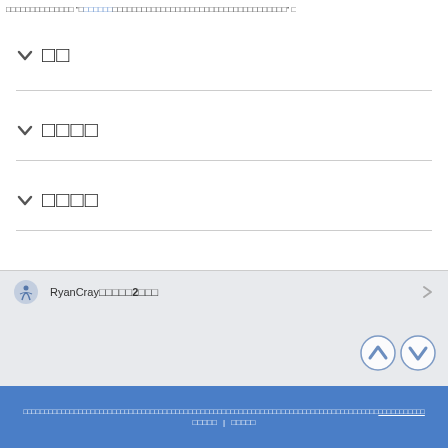□□□□□□□□□□□□□□ □□□□□□□□□□□□□□□□□□□□□□□□□□□□□□□□□□□□□□□□□ □
▼ □□
▼ □□□□
▼ □□□□
RyanCray□□□□□2□□□
□□□□□□□□□□□□□□□□□□□□□□□□□□□□□□□□□□□□□□□□□□□□□□□□□□□□□□□□□□□□□□□□□□□□□□□□□□□□□□□□□□□□□□□□□□□□□□□ | □□□□□